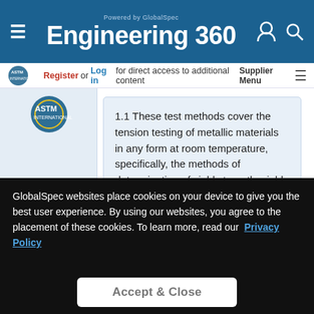Engineering 360 — Powered by GlobalSpec
Register or Log in for direct access to additional content
Supplier Menu
1.1 These test methods cover the tension testing of metallic materials in any form at room temperature, specifically, the methods of determination of yield strength, yield point elongation, tensile...
GlobalSpec websites place cookies on your device to give you the best user experience. By using our websites, you agree to the placement of these cookies. To learn more, read our Privacy Policy
Accept & Close